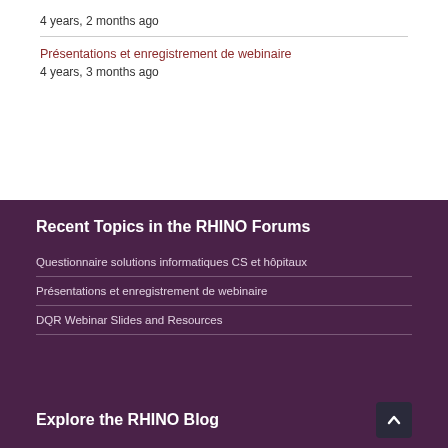4 years, 2 months ago
Présentations et enregistrement de webinaire
4 years, 3 months ago
Recent Topics in the RHINO Forums
Questionnaire solutions informatiques CS et hôpitaux
Présentations et enregistrement de webinaire
DQR Webinar Slides and Resources
Explore the RHINO Blog